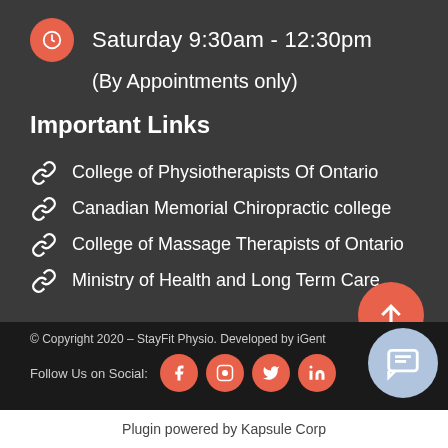Saturday 9:30am - 12:30pm
(By Appointments only)
Important Links
College of Physiotherapists Of Ontario
Canadian Memorial Chiropractic college
College of Massage Therapists of Ontario
Ministry of Health and Long Term Care
© Copyright 2020 – StayFit Physio. Developed by iGent
Follow Us on Social:
Plugin powered by Kapsule Corp